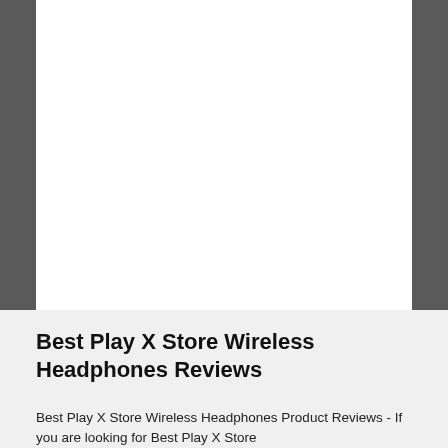[Figure (other): Large blank white rectangular area occupying the upper portion of the page, bordered by dark gray side panels.]
Best Play X Store Wireless Headphones Reviews
Best Play X Store Wireless Headphones Product Reviews - If you are looking for Best Play X Store